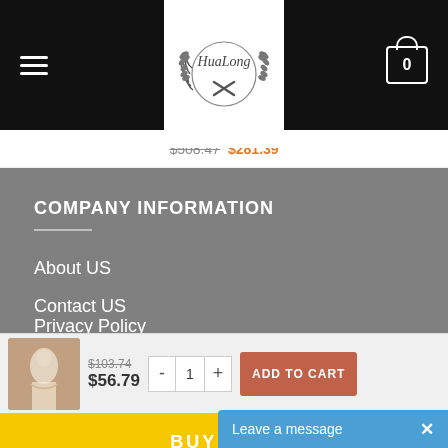[Figure (screenshot): Website header with black background, hamburger menu on left, HuaLong logo in center white box, cart icon with 0 on right]
$103.74  $281.39
COMPANY INFORMATION
About US
Contact US
Privacy Policy
$103.74  $56.79  -  1  +  ADD TO CART
BUY NOW
Leave a message  ×